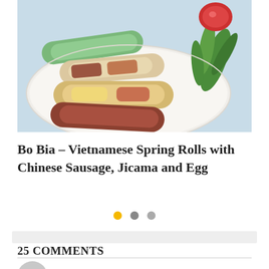[Figure (photo): Photo of Vietnamese spring rolls (Bo Bia) with Chinese sausage, jicama and egg on a white plate, garnished with green herbs, with a small dipping sauce bowl in the background]
Bo Bia – Vietnamese Spring Rolls with Chinese Sausage, Jicama and Egg
[Figure (infographic): Three pagination dots: first dot is yellow/gold, second and third dots are gray]
25 COMMENTS
Prerna@IndianSimmer